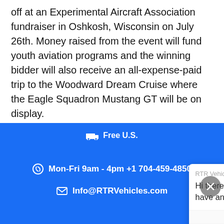off at an Experimental Aircraft Association fundraiser in Oshkosh, Wisconsin on July 26th. Money raised from the event will fund youth aviation programs and the winning bidder will also receive an all-expense-paid trip to the Woodward Dream Cruise where the Eagle Squadron Mustang GT will be on display.
Original Article Link: GT Debuts At Goodw...
[Figure (screenshot): Chat popup from RTR Vehicles showing message: Hi there, let me know if you have any questions :) Powered by gorgias. Click to reply input field.]
Free U.S. Shipping | Mon-Fri 9am - 4pm +1 704-459-4850 | Info@RTRVehicles.com